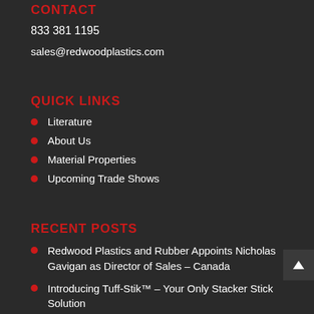CONTACT
833 381 1195
sales@redwoodplastics.com
QUICK LINKS
Literature
About Us
Material Properties
Upcoming Trade Shows
RECENT POSTS
Redwood Plastics and Rubber Appoints Nicholas Gavigan as Director of Sales – Canada
Introducing Tuff-Stik™ – Your Only Stacker Stick Solution